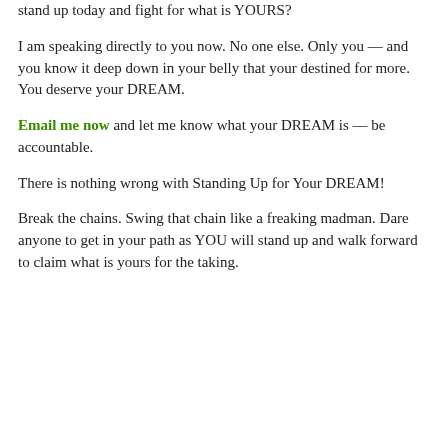stand up today and fight for what is YOURS?
I am speaking directly to you now. No one else. Only you — and you know it deep down in your belly that your destined for more. You deserve your DREAM.
Email me now and let me know what your DREAM is — be accountable.
There is nothing wrong with Standing Up for Your DREAM!
Break the chains. Swing that chain like a freaking madman. Dare anyone to get in your path as YOU will stand up and walk forward to claim what is yours for the taking.